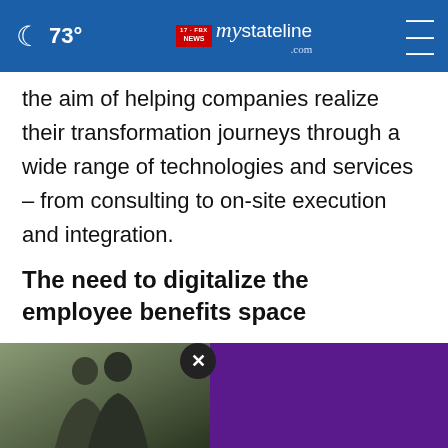73° mystateline NEWS .com
the aim of helping companies realize their transformation journeys through a wide range of technologies and services – from consulting to on-site execution and integration.
The need to digitalize the employee benefits space
Many insurance carriers currently undertake manual steps that give rise to a host of inefficiencies. There is, therefore, a growing need for ca[rriers to digitalize the employee benefits]l
[Figure (photo): Advertisement overlay showing two men and a purple panel with a close button]